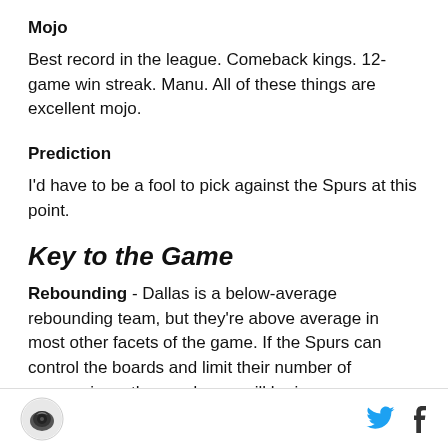Mojo
Best record in the league. Comeback kings. 12-game win streak. Manu. All of these things are excellent mojo.
Prediction
I'd have to be a fool to pick against the Spurs at this point.
Key to the Game
Rebounding - Dallas is a below-average rebounding team, but they're above average in most other facets of the game. If the Spurs can control the boards and limit their number of possessions, the good guys will be in